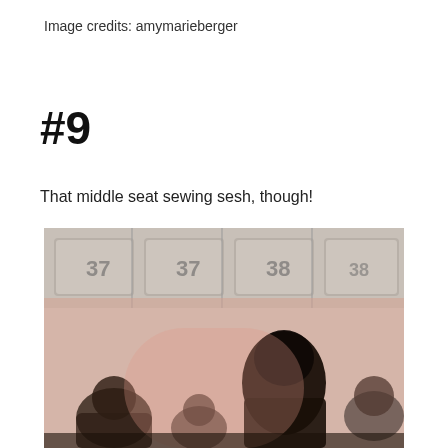Image credits: amymarieberger
#9
That middle seat sewing sesh, though!
[Figure (photo): A low-quality, blurry photo taken inside an airplane cabin. The overhead luggage compartments are visible at the top. Several passengers are seated, with a person with dark hair prominent in the right-center of the image. The cabin has a pinkish-warm tone, suggesting dim or unusual lighting.]